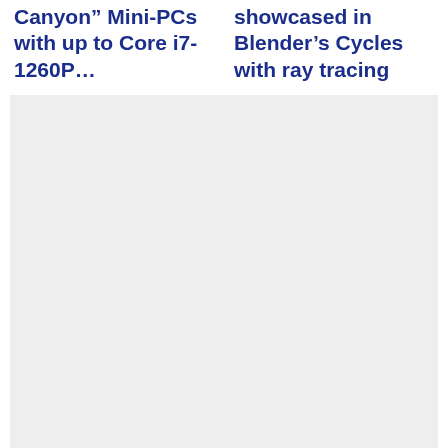Canyon” Mini-PCs with up to Core i7-1260P…
showcased in Blender’s Cycles with ray tracing
[Figure (other): Large light gray rectangular image placeholder area below the two headline columns]